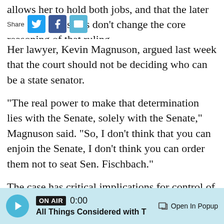allows her to hold both jobs, and that the later sions don't change the core reasoning of that ruling.
Her lawyer, Kevin Magnuson, argued last week that the court should not be deciding who can be a state senator.
"The real power to make that determination lies with the Senate, solely with the Senate," Magnuson said. "So, I don't think that you can enjoin the Senate, I don't think you can order them not to seat Sen. Fischbach."
The case has critical implications for control of the Minnesota Senate. Republicans currently hold
ON AIR 0:00 All Things Considered with T‌ Open In Popup